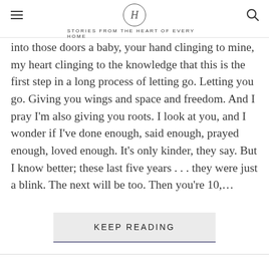H — STORIES FROM THE HEART OF EVERY HOME
into those doors a baby, your hand clinging to mine, my heart clinging to the knowledge that this is the first step in a long process of letting go. Letting you go. Giving you wings and space and freedom. And I pray I'm also giving you roots. I look at you, and I wonder if I've done enough, said enough, prayed enough, loved enough. It's only kinder, they say. But I know better; these last five years . . . they were just a blink. The next will be too. Then you're 10,…
KEEP READING